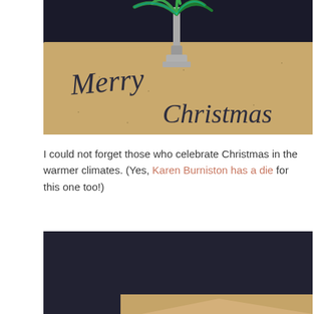[Figure (photo): A photograph showing a kraft paper card with 'Merry Christmas' written in dark script lettering, with a decorative metallic palm tree sculpture sitting on top of the card, against a dark background.]
I could not forget those who celebrate Christmas in the warmer climates. (Yes, Karen Burniston has a die for this one too!)
[Figure (photo): A photograph showing a dark navy/black background with a kraft paper card or envelope visible in the lower portion of the image.]